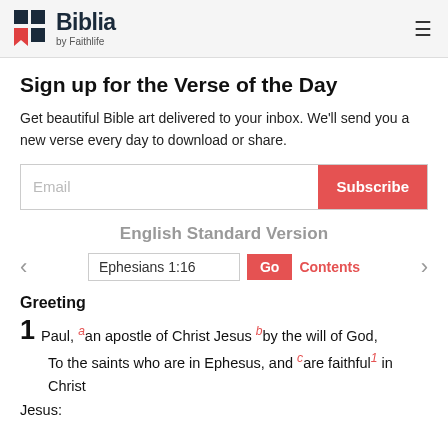Biblia by Faithlife
Sign up for the Verse of the Day
Get beautiful Bible art delivered to your inbox. We'll send you a new verse every day to download or share.
English Standard Version
Ephesians 1:16
Greeting
1 Paul, a an apostle of Christ Jesus b by the will of God, To the saints who are in Ephesus, and c are faithful 1 in Christ Jesus: